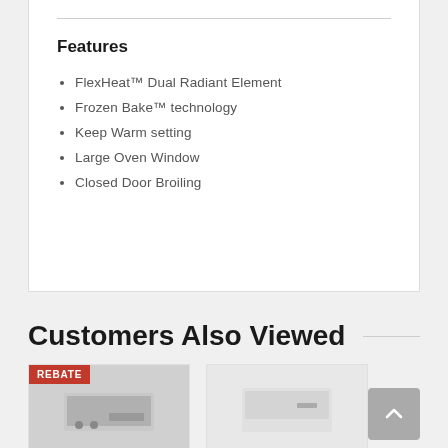Features
FlexHeat™ Dual Radiant Element
Frozen Bake™ technology
Keep Warm setting
Large Oven Window
Closed Door Broiling
Customers Also Viewed
[Figure (photo): Product image with REBATE badge, electric range appliance]
[Figure (photo): Product image, white appliance]